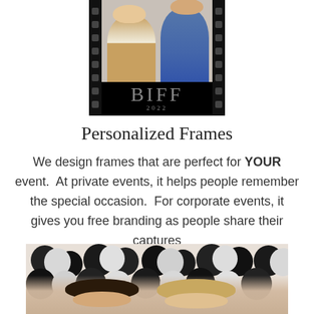[Figure (photo): Film strip style photo frame showing two people, with 'BIFF 2022' text overlay on black background at bottom of frame]
Personalized Frames
We design frames that are perfect for YOUR event.  At private events, it helps people remember the special occasion.  For corporate events, it gives you free branding as people share their captures
[Figure (photo): Photo of two women in front of black and white balloon decoration backdrop]